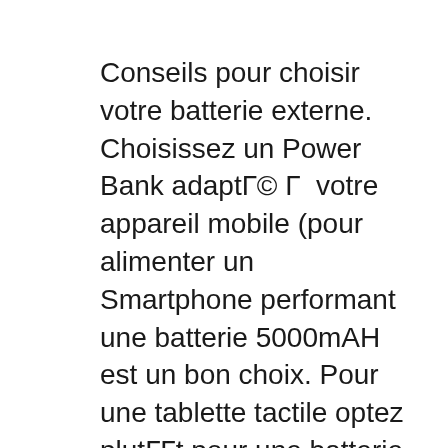Conseils pour choisir votre batterie externe. Choisissez un Power Bank adaptÉ à votre appareil mobile (pour alimenter un Smartphone performant une batterie 5000mAH est un bon choix. Pour une tablette tactile optez plutôt pour une batterie d'une capacité de 8000mAh minimum). Yiboyuan Universal Battery Charger Instructions Read/Download YIBOYUAN SS-8 Intelligent LCD Display US Plug USB / AC Battery Charger is an innovative universal charger for all kinds of lithium batteries. It can easily. 2015 New Efan Unique X4 Lcd Display Universal Charger With Usb , Find Display Universal Charger With Usb Efan